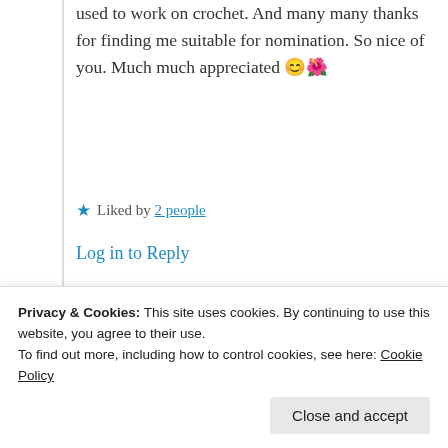used to work on crochet. And many many thanks for finding me suitable for nomination. So nice of you. Much much appreciated 😊🌺
★ Liked by 2 people
Log in to Reply
Suma Reddy
22nd Jun 2021 at 3:13 pm
your kind words 😊🙏❤️
Privacy & Cookies: This site uses cookies. By continuing to use this website, you agree to their use.
To find out more, including how to control cookies, see here: Cookie Policy
Close and accept